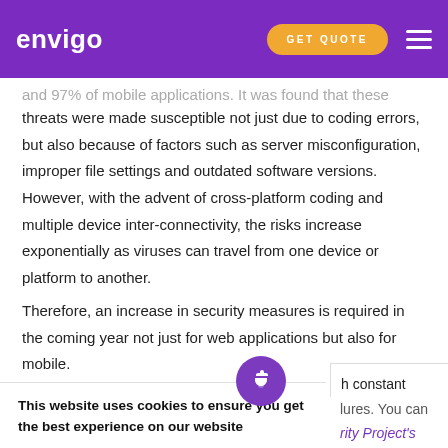envigo | GET QUOTE
and 97% of mobile applications. It was found that these threats were made susceptible not just due to coding errors, but also because of factors such as server misconfiguration, improper file settings and outdated software versions. However, with the advent of cross-platform coding and multiple device inter-connectivity, the risks increase exponentially as viruses can travel from one device or platform to another.
Therefore, an increase in security measures is required in the coming year not just for web applications but also for mobile.
h constant security
lures. You can
rity Project's
This website uses cookies to ensure you get the best experience on our website